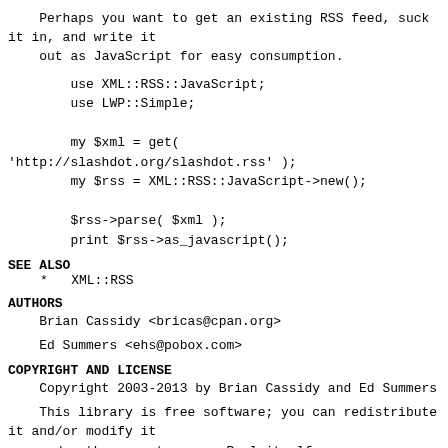Perhaps you want to get an existing RSS feed, suck
it in, and write it
    out as JavaScript for easy consumption.
use XML::RSS::JavaScript;
 use LWP::Simple;

 my $xml = get(
'http://slashdot.org/slashdot.rss' );
        my $rss = XML::RSS::JavaScript->new();

        $rss->parse( $xml );
        print $rss->as_javascript();
SEE ALSO
*   XML::RSS
AUTHORS
Brian Cassidy <bricas@cpan.org>
Ed Summers <ehs@pobox.com>
COPYRIGHT AND LICENSE
Copyright 2003-2013 by Brian Cassidy and Ed Summers
This library is free software; you can redistribute
it and/or modify it
    under the same terms as Perl itself.